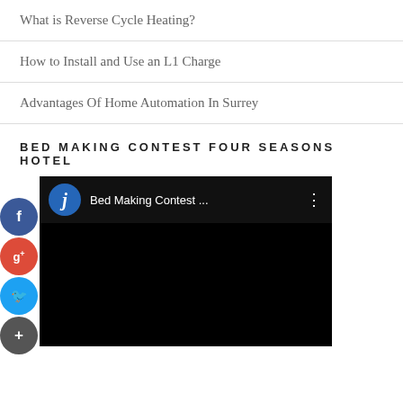What is Reverse Cycle Heating?
How to Install and Use an L1 Charge
Advantages Of Home Automation In Surrey
BED MAKING CONTEST FOUR SEASONS HOTEL
[Figure (screenshot): Embedded video player showing 'Bed Making Contest ...' with a dark background, channel avatar with letter j, and a three-dot menu icon. Social sharing buttons (Facebook, Google+, Twitter, Plus) overlaid on the left side.]